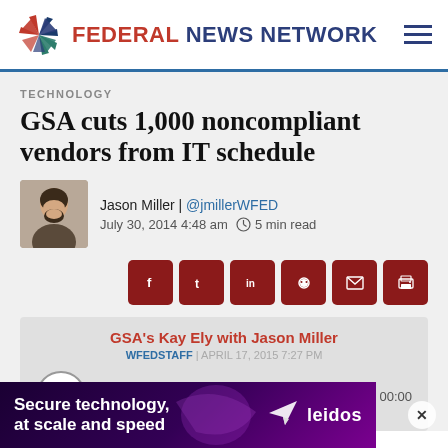Federal News Network
TECHNOLOGY
GSA cuts 1,000 noncompliant vendors from IT schedule
Jason Miller | @jmillerWFED
July 30, 2014 4:48 am   5 min read
[Figure (other): Audio player card: GSA's Kay Ely with Jason Miller, WFEDSTAFF | APRIL 17, 2015 7:27 PM, 00:00 / 00:00]
[Figure (infographic): Advertisement banner: Secure technology, at scale and speed — Leidos]